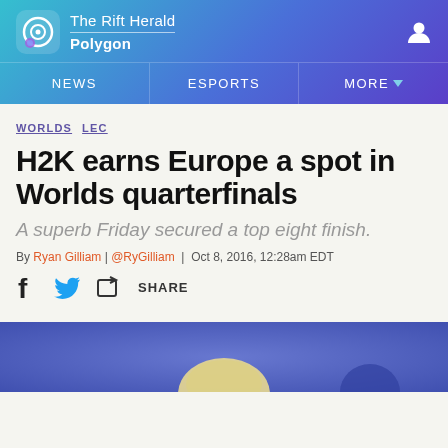The Rift Herald | Polygon — NEWS | ESPORTS | MORE
WORLDS  LEC
H2K earns Europe a spot in Worlds quarterfinals
A superb Friday secured a top eight finish.
By Ryan Gilliam | @RyGilliam | Oct 8, 2016, 12:28am EDT
[Figure (other): Social share bar with Facebook, Twitter, and Share icons]
[Figure (photo): Photo of a player at a gaming event, blond hair, seated, blue/purple background]